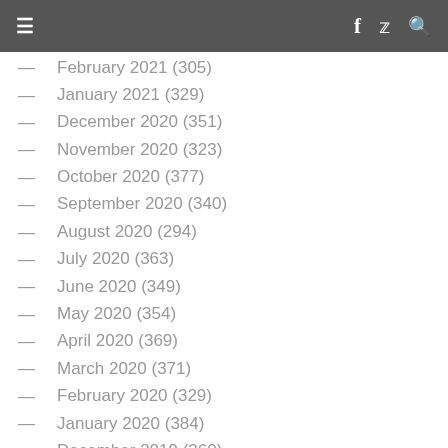Navigation bar with hamburger menu, Facebook, Twitter, and search icons
February 2021 (305)
January 2021 (329)
December 2020 (351)
November 2020 (323)
October 2020 (377)
September 2020 (340)
August 2020 (294)
July 2020 (363)
June 2020 (349)
May 2020 (354)
April 2020 (369)
March 2020 (371)
February 2020 (329)
January 2020 (384)
December 2019 (360)
November 2019 (379)
October 2019 (406)